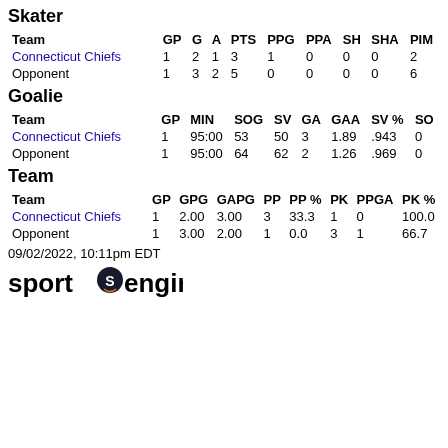Skater
| Team | GP | G | A | PTS | PPG | PPA | SH | SHA | PIM |
| --- | --- | --- | --- | --- | --- | --- | --- | --- | --- |
| Connecticut Chiefs | 1 | 2 | 1 | 3 | 1 | 0 | 0 | 0 | 2 |
| Opponent | 1 | 3 | 2 | 5 | 0 | 0 | 0 | 0 | 6 |
Goalie
| Team | GP | MIN | SOG | SV | GA | GAA | SV % | SO |
| --- | --- | --- | --- | --- | --- | --- | --- | --- |
| Connecticut Chiefs | 1 | 95:00 | 53 | 50 | 3 | 1.89 | .943 | 0 |
| Opponent | 1 | 95:00 | 64 | 62 | 2 | 1.26 | .969 | 0 |
Team
| Team | GP | GPG | GAPG | PP | PP % | PK | PPGA | PK % |
| --- | --- | --- | --- | --- | --- | --- | --- | --- |
| Connecticut Chiefs | 1 | 2.00 | 3.00 | 3 | 33.3 | 1 | 0 | 100.0 |
| Opponent | 1 | 3.00 | 2.00 | 1 | 0.0 | 3 | 1 | 66.7 |
09/02/2022, 10:11pm EDT
[Figure (logo): SportsEngine logo]